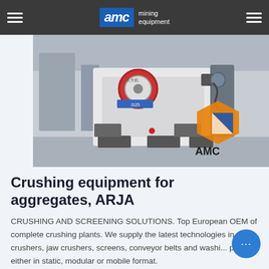AMC mining equipment
[Figure (photo): Large industrial jaw crusher / mining equipment machine in a factory warehouse setting, with a partial AMC logo visible in the lower right of the photo.]
Crushing equipment for aggregates, ARJA
CRUSHING AND SCREENING SOLUTIONS. Top European OEM of complete crushing plants. We supply the latest technologies in stone crushers, jaw crushers, screens, conveyor belts and washing plants, either in static, modular or mobile format.